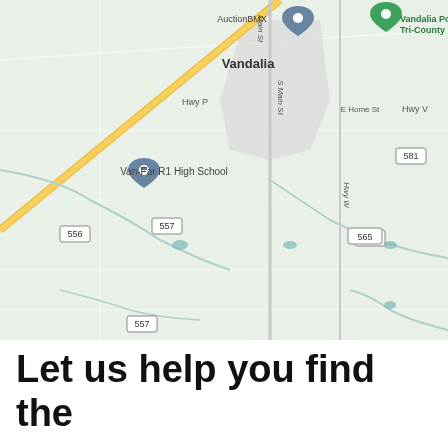[Figure (map): Google Maps screenshot showing Vandalia, Missouri area with landmarks: AuctionBMX, Vandalia Pool And Tri-County Park, Van-Far R1 High School. Roads include Hwy P, E Home St, Hwy V, S Main St, Hwy W. Route numbers visible: 556, 557, 565, 548, 581.]
Let us help you find the perfect tutor